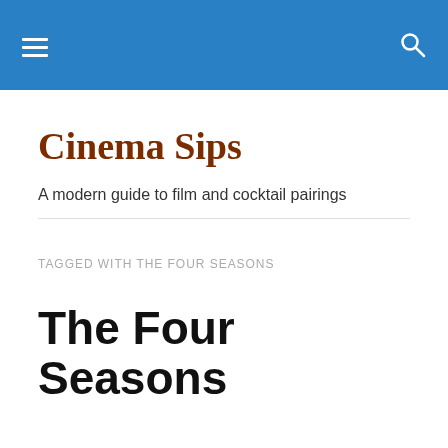Cinema Sips — navigation header with hamburger menu and search icon
Cinema Sips
A modern guide to film and cocktail pairings
TAGGED WITH THE FOUR SEASONS
The Four Seasons